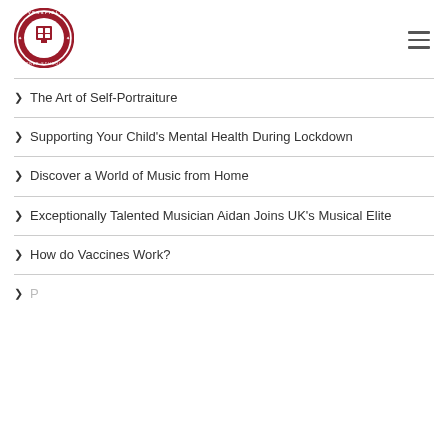[Figure (logo): Eversfield Prep School circular crest logo in red and white]
The Art of Self-Portraiture
Supporting Your Child's Mental Health During Lockdown
Discover a World of Music from Home
Exceptionally Talented Musician Aidan Joins UK's Musical Elite
How do Vaccines Work?
(partial — cut off at bottom of page)